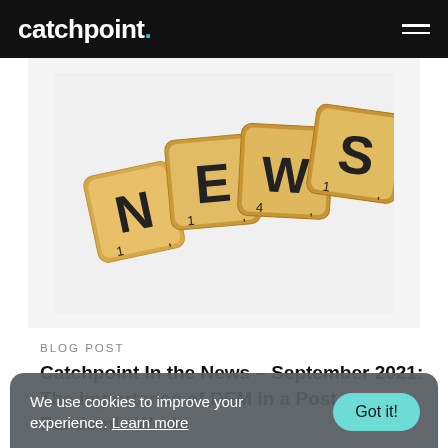catchpoint.
[Figure (photo): Scrabble tiles spelling NEWS on a white background. N tile (value 1), E tile (value 1), W tile (value 4), S tile (value 1) arranged overlapping at angles.]
BLOG POST
Catchpoint In the News – September 2021: The Importance of DEM in a Post-Pandemic World
We use cookies to improve your experience. Learn more  Got it!